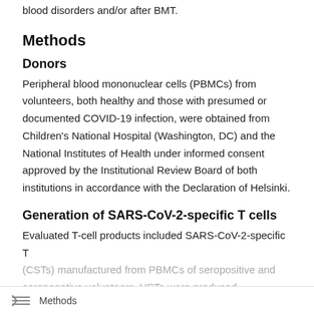blood disorders and/or after BMT.
Methods
Donors
Peripheral blood mononuclear cells (PBMCs) from volunteers, both healthy and those with presumed or documented COVID-19 infection, were obtained from Children's National Hospital (Washington, DC) and the National Institutes of Health under informed consent approved by the Institutional Review Board of both institutions in accordance with the Declaration of Helsinki.
Generation of SARS-CoV-2-specific T cells
Evaluated T-cell products included SARS-CoV-2-specific T
(CSTs) manufactured from PBMCs of seropositive and seronegative volunteers. VSTs were produced...
Methods